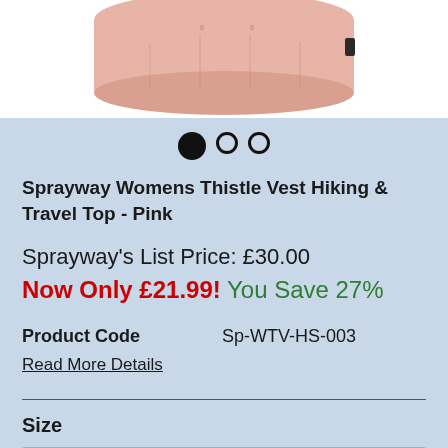[Figure (photo): Product photo of a pink Sprayway Womens Thistle Vest Hiking & Travel Top shown from above/top view, on a white background. Image carousel dots visible below.]
Sprayway Womens Thistle Vest Hiking & Travel Top - Pink
Sprayway's List Price: £30.00
Now Only £21.99! You Save 27%
Product Code    Sp-WTV-HS-003
Read More Details
Size
UK 12 (Eur M; USA 10)